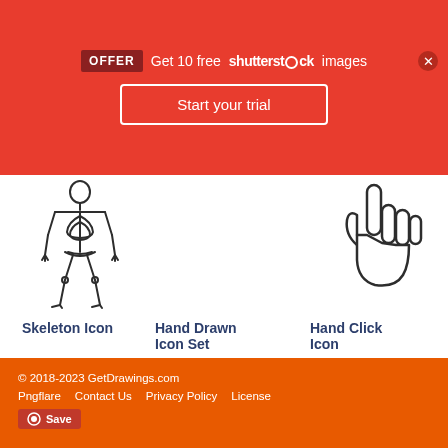[Figure (screenshot): Red Shutterstock promotional banner: OFFER badge, 'Get 10 free shutterstock images', 'Start your trial' button, and close X button]
[Figure (illustration): Skeleton icon - dark outline illustration of a human skeleton]
[Figure (illustration): Hand Drawn Icon Set - placeholder area (not visible in crop)]
[Figure (illustration): Hand Click Icon - dark outline illustration of a pointing hand cursor]
Skeleton Icon
Hand Drawn Icon Set
Hand Click Icon
© 2018-2023 GetDrawings.com
Pngflare   Contact Us   Privacy Policy   License
Save